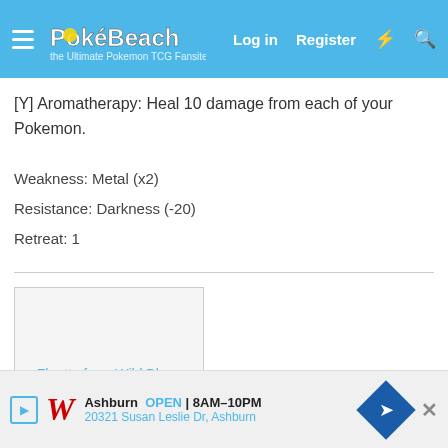PokéBeach — Log in  Register
[Y] Aromatherapy: Heal 10 damage from each of your Pokemon.
Weakness: Metal (x2)
Resistance: Darkness (-20)
Retreat: 1
[Figure (photo): Card image: Floette from Wild Blaze]
Floette – Fairy – HP70
Stage 1 – Evolves from Flabebe
Ability: Flower veil (partially visible)
Each... (partially visible)
[Figure (infographic): Walgreens advertisement banner: Ashburn OPEN 8AM-10PM, 20321 Susan Leslie Dr, Ashburn]